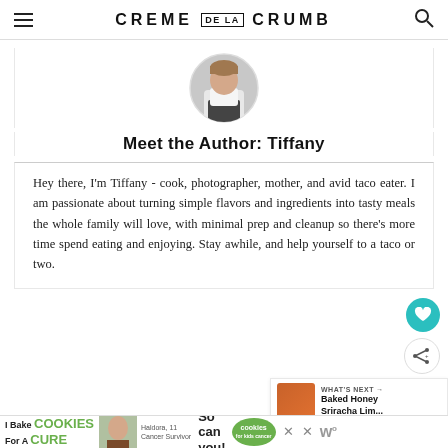CREME DE LA CRUMB
[Figure (photo): Circular profile photo of Tiffany, the blog author, in a kitchen setting wearing a white outfit]
Meet the Author: Tiffany
Hey there, I'm Tiffany - cook, photographer, mother, and avid taco eater. I am passionate about turning simple flavors and ingredients into tasty meals the whole family will love, with minimal prep and cleanup so there's more time spend eating and enjoying. Stay awhile, and help yourself to a taco or two.
WHAT'S NEXT → Baked Honey Sriracha Lim...
You Might Also Like
[Figure (photo): Advertisement banner: I Bake COOKIES For A CURE - Haldora, 11 Cancer Survivor - So can you! cookies for kids cancer]